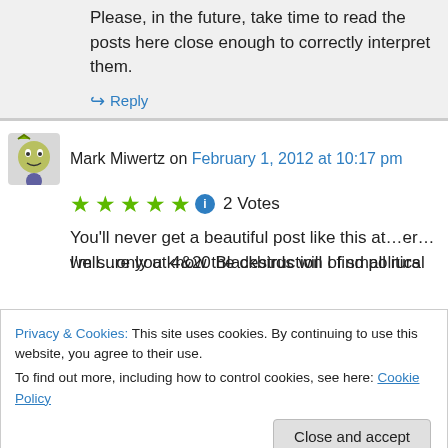Please, in the future, take time to read the posts here close enough to correctly interpret them.
↳ Reply
Mark Miwertz on February 1, 2012 at 10:17 pm
★★★★★ ℹ 2 Votes
You'll never get a beautiful post like this at…er…well…only at 4&20 Blackbirds will I find politics
Privacy & Cookies: This site uses cookies. By continuing to use this website, you agree to their use.
To find out more, including how to control cookies, see here: Cookie Policy
Close and accept
I'm sure you know the destruction of small rural